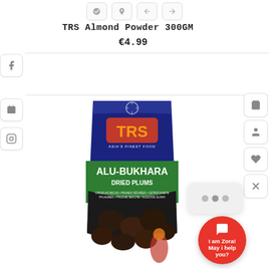TRS Almond Powder 300GM
€4.99
[Figure (photo): TRS brand bag of Aloo-Bukhara Dried Plums product with blue and green packaging, showing the TRS logo and product contents visible through transparent packaging.]
[Figure (other): Chat widget showing animated dots and a red circular button with chat icon labeled 'I am Zora! May i help you?']